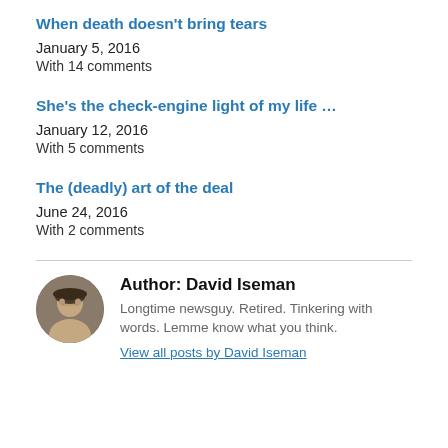When death doesn't bring tears
January 5, 2016
With 14 comments
She's the check-engine light of my life ...
January 12, 2016
With 5 comments
The (deadly) art of the deal
June 24, 2016
With 2 comments
Author: David Iseman
Longtime newsguy. Retired. Tinkering with words. Lemme know what you think.
View all posts by David Iseman